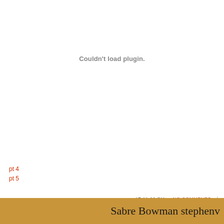Couldn't load plugin.
pt 4
pt 5
AT 11:09 PM   NO COMMENTS:  |
Sabre Bowman stephenv